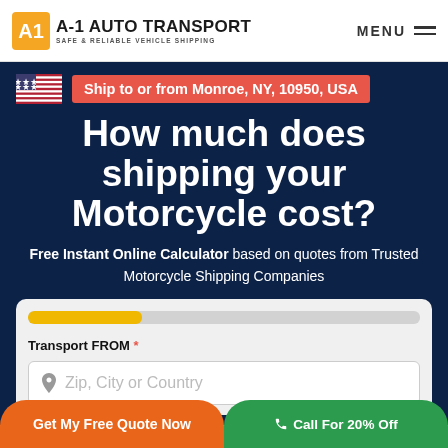A-1 AUTO TRANSPORT — SAFE & RELIABLE VEHICLE SHIPPING | MENU
Ship to or from Monroe, NY, 10950, USA
How much does shipping your Motorcycle cost?
Free Instant Online Calculator based on quotes from Trusted Motorcycle Shipping Companies
Transport FROM * — Zip, City or Country
Get My Free Quote Now
Call For 20% Off